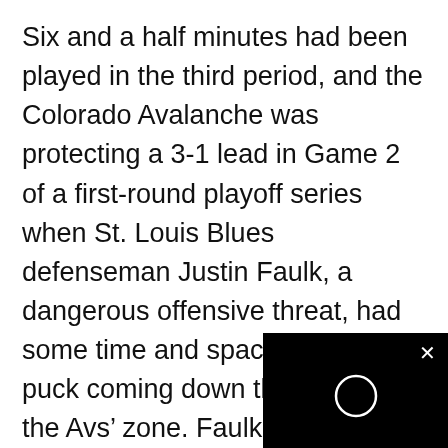Six and a half minutes had been played in the third period, and the Colorado Avalanche was protecting a 3-1 lead in Game 2 of a first-round playoff series when St. Louis Blues defenseman Justin Faulk, a dangerous offensive threat, had some time and space with the puck coming down the middle of the Avs’ zone. Faulk was gearing up for a wrist shot when he dipped his head and body down some, to gain better leverage on the shot toward goalie Philipp Grubauer. Nazem Kadri then did what they teach you to do in hockey when an opponent comes into the slot for a dangerous scoring chance: Hit him. Take him off the p
[Figure (other): Black video player overlay in bottom-right corner with a circular play/loading icon and an X close button]